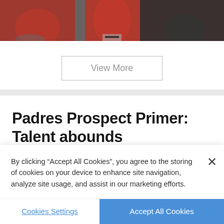[Figure (photo): Baseball players in red uniforms, partial view, dark background]
View More
Padres Prospect Primer: Talent abounds
By clicking “Accept All Cookies”, you agree to the storing of cookies on your device to enhance site navigation, analyze site usage, and assist in our marketing efforts.
Cookies Settings
Accept All Cookies